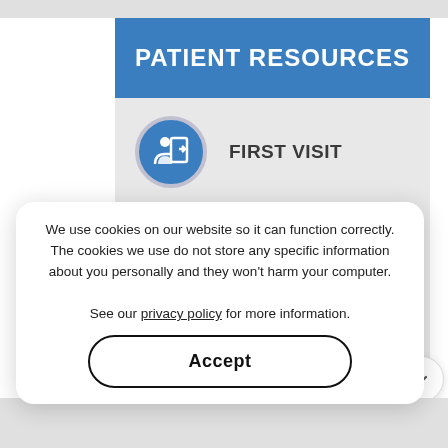PATIENT RESOURCES
FIRST VISIT
PATIENT FORMS
POST-OP INSTRUCTIONS
INSURANCE INFO
We use cookies on our website so it can function correctly. The cookies we use do not store any specific information about you personally and they won't harm your computer.

See our privacy policy for more information.
Accept